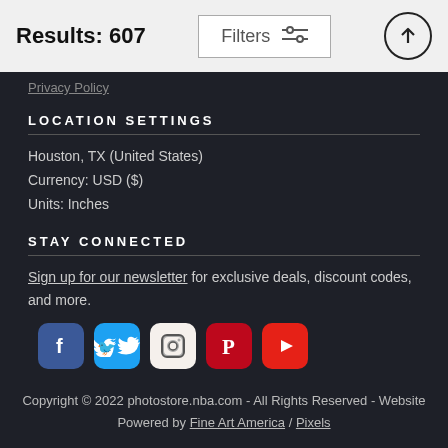Results: 607
Filters
Privacy Policy
LOCATION SETTINGS
Houston, TX (United States)
Currency: USD ($)
Units: Inches
STAY CONNECTED
Sign up for our newsletter for exclusive deals, discount codes, and more.
[Figure (illustration): Social media icons: Facebook, Twitter, Instagram, Pinterest, YouTube]
Copyright © 2022 photostore.nba.com - All Rights Reserved - Website Powered by Fine Art America / Pixels